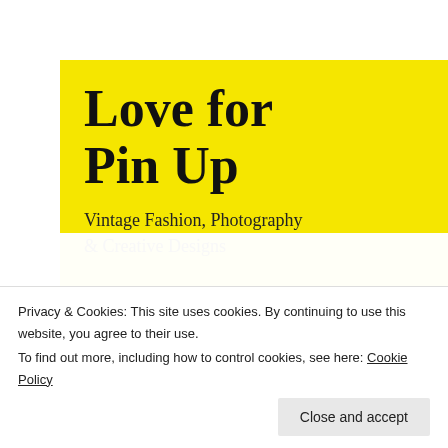Love for Pin Up
Vintage Fashion, Photography & Creative Designs
Home
Indiegogo Campaign
Social Media Platforms
Mission
About Us
Services
25 FEB
throwback
christine fe
up / photog
[Figure (photo): Gold ornate decorative statue on right side of page]
Privacy & Cookies: This site uses cookies. By continuing to use this website, you agree to their use.
To find out more, including how to control cookies, see here: Cookie Policy
Close and accept